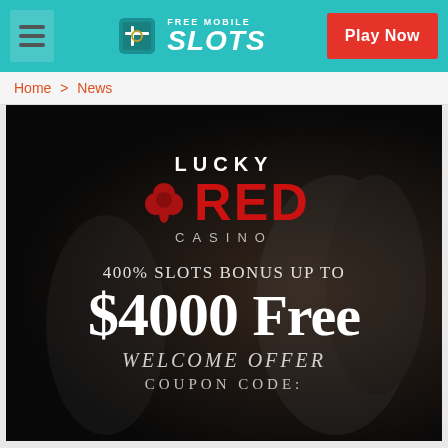FREE MOBILE SLOTS — Play Now
Home > News
[Figure (illustration): Lucky Red Casino promotional banner showing logo with clover, red text, and offer: 400% Slots Bonus up to $4000 Free Welcome Offer, Coupon Code:]